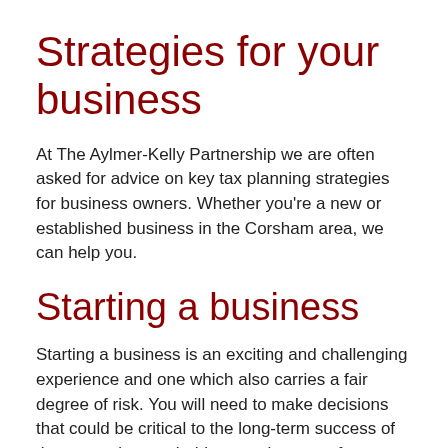Strategies for your business
At The Aylmer-Kelly Partnership we are often asked for advice on key tax planning strategies for business owners. Whether you’re a new or established business in the Corsham area, we can help you.
Starting a business
Starting a business is an exciting and challenging experience and one which also carries a fair degree of risk. You will need to make decisions that could be critical to the long-term success of the enterprise, such things as the type of business and its attributes; your target market and competition; profit potential and how you will extract those profits; the rate of business growth; and the impact of running the business on your personal life. At some point, you’ll also need to consider